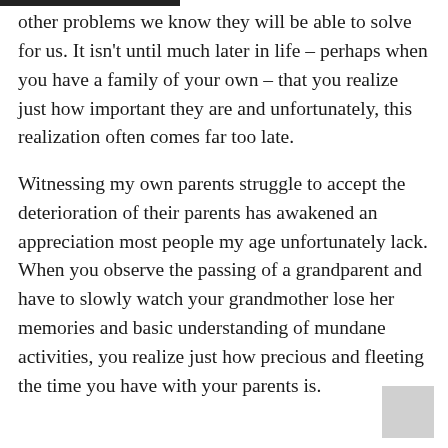other problems we know they will be able to solve for us. It isn't until much later in life – perhaps when you have a family of your own – that you realize just how important they are and unfortunately, this realization often comes far too late.
Witnessing my own parents struggle to accept the deterioration of their parents has awakened an appreciation most people my age unfortunately lack. When you observe the passing of a grandparent and have to slowly watch your grandmother lose her memories and basic understanding of mundane activities, you realize just how precious and fleeting the time you have with your parents is.